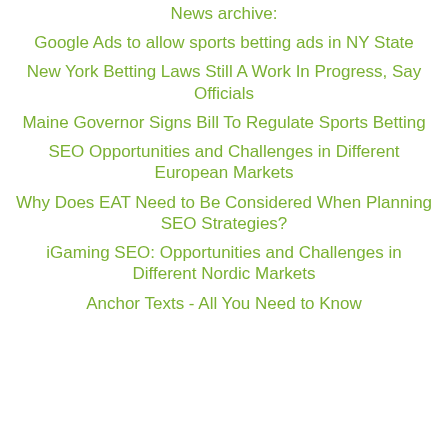News archive:
Google Ads to allow sports betting ads in NY State
New York Betting Laws Still A Work In Progress, Say Officials
Maine Governor Signs Bill To Regulate Sports Betting
SEO Opportunities and Challenges in Different European Markets
Why Does EAT Need to Be Considered When Planning SEO Strategies?
iGaming SEO: Opportunities and Challenges in Different Nordic Markets
Anchor Texts - All You Need to Know